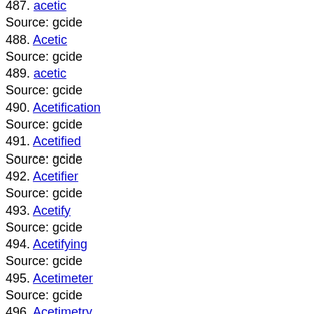487. acetic
Source: gcide
488. Acetic
Source: gcide
489. acetic
Source: gcide
490. Acetification
Source: gcide
491. Acetified
Source: gcide
492. Acetifier
Source: gcide
493. Acetify
Source: gcide
494. Acetifying
Source: gcide
495. Acetimeter
Source: gcide
496. Acetimetry
Source: gcide
497. Acetin
Source: gcide
498. Acetize
Source: gcide
499. acetol
Source: gcide
500. Acetometer
Source: gcide
501. Acetonaemia
Source: gcide
502. acetone
Source: gcide
503. Acetonaemia